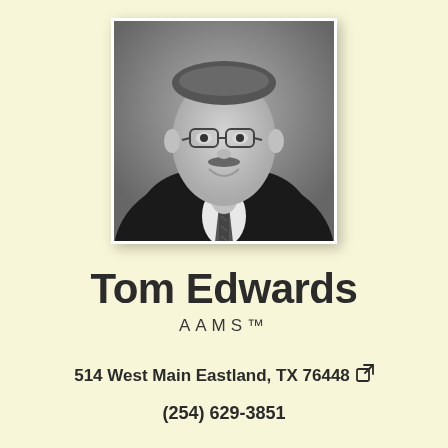[Figure (photo): Black and white professional headshot of a middle-aged man wearing glasses, a dark suit, white shirt, and patterned tie, smiling.]
Tom Edwards
AAMS™
514 West Main Eastland, TX 76448
(254) 629-3851